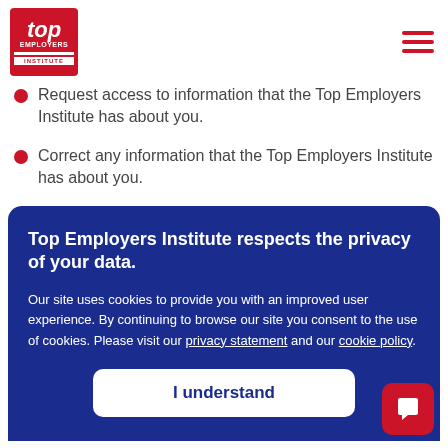Top Employers Institute logo and navigation menu
Request access to information that the Top Employers Institute has about you.
Correct any information that the Top Employers Institute has about you.
Top Employers Institute respects the privacy of your data. Our site uses cookies to provide you with an improved user experience. By continuing to browse our site you consent to the use of cookies. Please visit our privacy statement and our cookie policy.
I understand